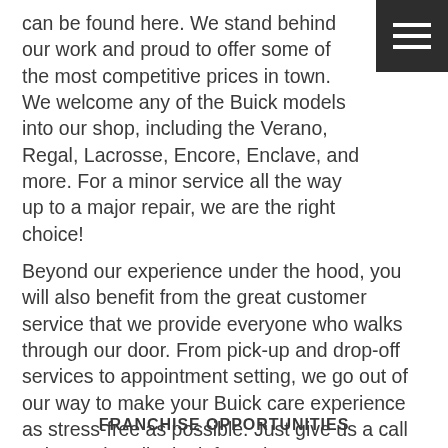can be found here. We stand behind our work and proud to offer some of the most competitive prices in town. We welcome any of the Buick models into our shop, including the Verano, Regal, Lacrosse, Encore, Enclave, and more. For a minor service all the way up to a major repair, we are the right choice!
Beyond our experience under the hood, you will also benefit from the great customer service that we provide everyone who walks through our door. From pick-up and drop-off services to appointment setting, we go out of our way to make your Buick care experience as stress-free as possible. Just give us a call today and we'll take it from there!
FRANCHISE OPPORTUNITIES